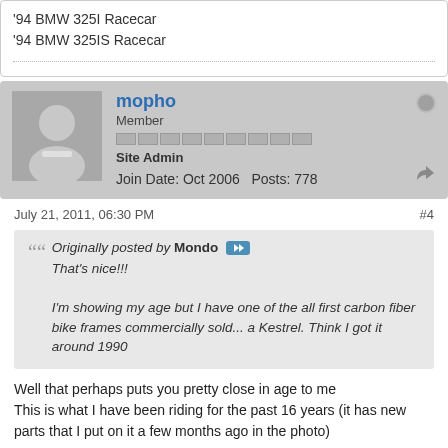'94 BMW 325I Racecar
'94 BMW 325IS Racecar
mopho
Member
Site Admin
Join Date: Oct 2006   Posts: 778
July 21, 2011, 06:30 PM   #4
Originally posted by Mondo
That's nice!!!

I'm showing my age but I have one of the all first carbon fiber bike frames commercially sold... a Kestrel. Think I got it around 1990
Well that perhaps puts you pretty close in age to me
This is what I have been riding for the past 16 years (it has new parts that I put on it a few months ago in the photo)

I bought the BMC after I made the mistake of "browsing" a nice bike shop in SM and discovering this frame marked 50% off on closeout